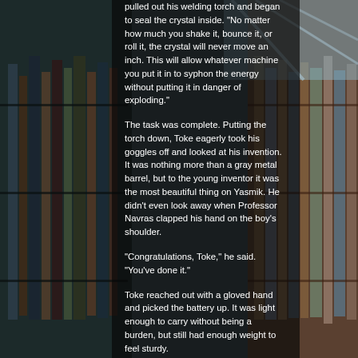[Figure (photo): Library background photo showing bookshelves on left and right sides with a glass ceiling visible, overlaid with a dark semi-transparent panel in the center containing white text.]
pulled out his welding torch and began to seal the crystal inside.  "No matter how much you shake it, bounce it, or roll it, the crystal will never move an inch.  This will allow whatever machine you put it in to syphon the energy without putting it in danger of exploding."
The task was complete.  Putting the torch down, Toke eagerly took his goggles off and looked at his invention.  It was nothing more than a gray metal barrel, but to the young inventor it was the most beautiful thing on Yasmik.  He didn't even look away when Professor Navras clapped his hand on the boy's shoulder.
"Congratulations, Toke," he said.  "You've done it."
Toke reached out with a gloved hand and picked the battery up.  It was light enough to carry without being a burden, but still had enough weight to feel sturdy.